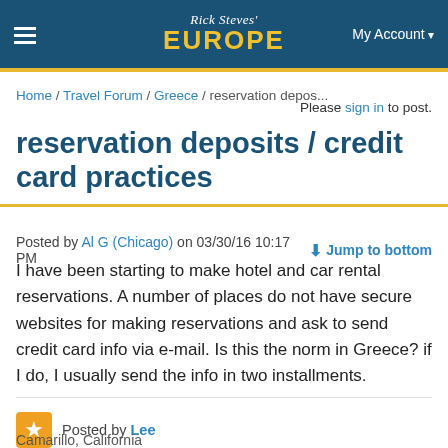Rick Steves' EUROPE | My Account
Home / Travel Forum / Greece / reservation depos...
Please sign in to post.
reservation deposits / credit card practices
Posted by Al G (Chicago) on 03/30/16 10:17 PM   Jump to bottom
I have been starting to make hotel and car rental reservations. A number of places do not have secure websites for making reservations and ask to send credit card info via e-mail. Is this the norm in Greece? if I do, I usually send the info in two installments.
Posted by Lee
Camarillo, California